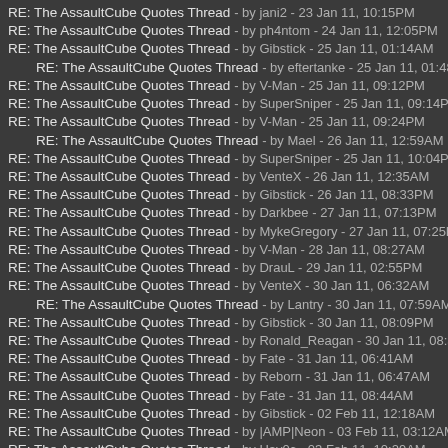RE: The AssaultCube Quotes Thread - by jani2 - 23 Jan 11, 10:15PM
RE: The AssaultCube Quotes Thread - by ph4ntom - 24 Jan 11, 12:05PM
RE: The AssaultCube Quotes Thread - by Gibstick - 25 Jan 11, 01:14AM
RE: The AssaultCube Quotes Thread - by eftertanke - 25 Jan 11, 01:48AM
RE: The AssaultCube Quotes Thread - by V-Man - 25 Jan 11, 09:12PM
RE: The AssaultCube Quotes Thread - by SuperSniper - 25 Jan 11, 09:14PM
RE: The AssaultCube Quotes Thread - by V-Man - 25 Jan 11, 09:24PM
RE: The AssaultCube Quotes Thread - by Mael - 26 Jan 11, 12:59AM
RE: The AssaultCube Quotes Thread - by SuperSniper - 25 Jan 11, 10:04PM
RE: The AssaultCube Quotes Thread - by VenteX - 26 Jan 11, 12:35AM
RE: The AssaultCube Quotes Thread - by Gibstick - 26 Jan 11, 08:33PM
RE: The AssaultCube Quotes Thread - by Darkbee - 27 Jan 11, 07:13PM
RE: The AssaultCube Quotes Thread - by MykeGregory - 27 Jan 11, 07:25PM
RE: The AssaultCube Quotes Thread - by V-Man - 28 Jan 11, 08:27AM
RE: The AssaultCube Quotes Thread - by DrauL - 29 Jan 11, 02:55PM
RE: The AssaultCube Quotes Thread - by VenteX - 30 Jan 11, 06:32AM
RE: The AssaultCube Quotes Thread - by Lantry - 30 Jan 11, 07:59AM
RE: The AssaultCube Quotes Thread - by Gibstick - 30 Jan 11, 08:09PM
RE: The AssaultCube Quotes Thread - by Ronald_Reagan - 30 Jan 11, 08:33PM
RE: The AssaultCube Quotes Thread - by Fate - 31 Jan 11, 06:41AM
RE: The AssaultCube Quotes Thread - by Reborn - 31 Jan 11, 06:47AM
RE: The AssaultCube Quotes Thread - by Fate - 31 Jan 11, 08:44AM
RE: The AssaultCube Quotes Thread - by Gibstick - 02 Feb 11, 12:18AM
RE: The AssaultCube Quotes Thread - by |AMP|Neon - 03 Feb 11, 03:12AM
RE: The AssaultCube Quotes Thread - by Hav0c - 03 Feb 11, 10:29AM